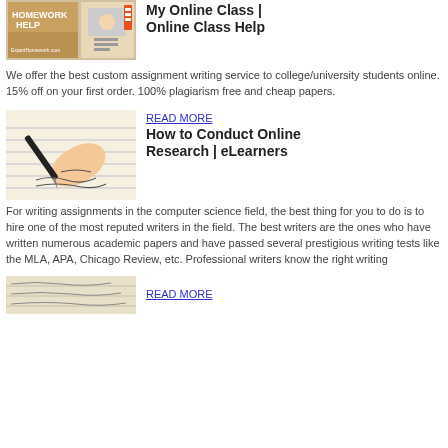[Figure (photo): Homework Help book cover with student at laptop]
My Online Class | Online Class Help
We offer the best custom assignment writing service to college/university students online. 15% off on your first order. 100% plagiarism free and cheap papers.
[Figure (photo): Hand writing with a pen on paper]
READ MORE
How to Conduct Online Research | eLearners
For writing assignments in the computer science field, the best thing for you to do is to hire one of the most reputed writers in the field. The best writers are the ones who have written numerous academic papers and have passed several prestigious writing tests like the MLA, APA, Chicago Review, etc. Professional writers know the right writing
[Figure (photo): Writing on lined paper]
READ MORE